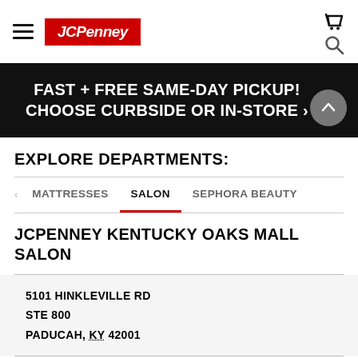[Figure (logo): JCPenney logo in red rectangle with white italic bold text, hamburger menu icon on left, cart icon on right]
FAST + FREE SAME-DAY PICKUP! CHOOSE CURBSIDE OR IN-STORE >
EXPLORE DEPARTMENTS:
MATTRESSES   SALON   SEPHORA BEAUTY
JCPENNEY KENTUCKY OAKS MALL SALON
5101 HINKLEVILLE RD
STE 800
PADUCAH, KY 42001